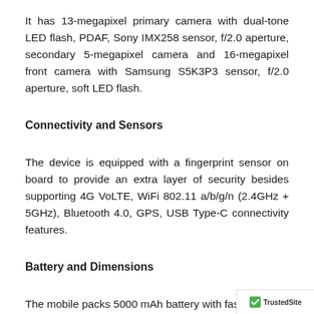It has 13-megapixel primary camera with dual-tone LED flash, PDAF, Sony IMX258 sensor, f/2.0 aperture, secondary 5-megapixel camera and 16-megapixel front camera with Samsung S5K3P3 sensor, f/2.0 aperture, soft LED flash.
Connectivity and Sensors
The device is equipped with a fingerprint sensor on board to provide an extra layer of security besides supporting 4G VoLTE, WiFi 802.11 a/b/g/n (2.4GHz + 5GHz), Bluetooth 4.0, GPS, USB Type-C connectivity features.
Battery and Dimensions
The mobile packs 5000 mAh battery with fast